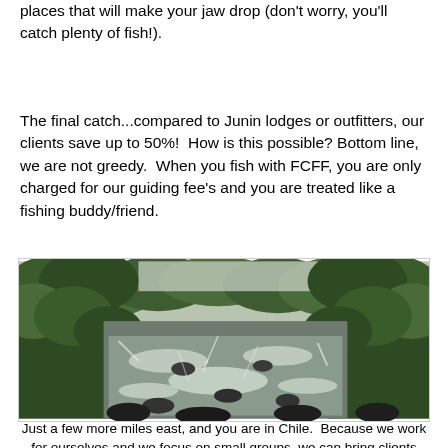...but we guarantee that we'll put you in places that will make your jaw drop (don't worry, you'll catch plenty of fish!).
The final catch...compared to Junin lodges or outfitters, our clients save up to 50%!  How is this possible? Bottom line, we are not greedy.  When you fish with FCFF, you are only charged for our guiding fee's and you are treated like a fishing buddy/friend.
[Figure (photo): A rushing river with rocky white-water rapids flowing through a lush green forest with overhanging trees on both sides.]
Just a few more miles east, and you are in Chile.  Because we work for ourselves and we focus on small groups, we can bring clients ANY